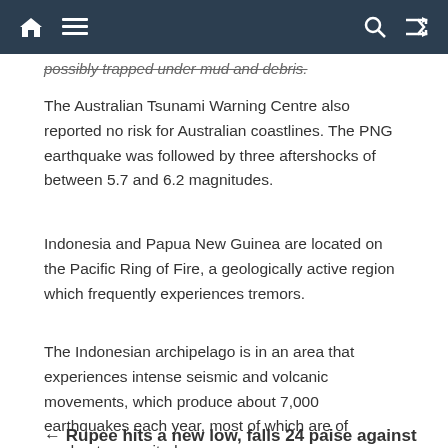[navigation bar with home, menu, search, shuffle icons]
possibly trapped under mud and debris.
The Australian Tsunami Warning Centre also reported no risk for Australian coastlines. The PNG earthquake was followed by three aftershocks of between 5.7 and 6.2 magnitudes.
Indonesia and Papua New Guinea are located on the Pacific Ring of Fire, a geologically active region which frequently experiences tremors.
The Indonesian archipelago is in an area that experiences intense seismic and volcanic movements, which produce about 7,000 earthquakes each year, most of which are of moderate magnitude.
← Rupee hits a new low, falls 24 paise against